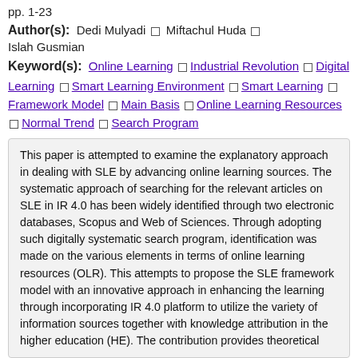pp. 1-23
Author(s): Dedi Mulyadi □ Miftachul Huda □ Islah Gusmian
Keyword(s): Online Learning □ Industrial Revolution □ Digital Learning □ Smart Learning Environment □ Smart Learning □ Framework Model □ Main Basis □ Online Learning Resources □ Normal Trend □ Search Program
This paper is attempted to examine the explanatory approach in dealing with SLE by advancing online learning sources. The systematic approach of searching for the relevant articles on SLE in IR 4.0 has been widely identified through two electronic databases, Scopus and Web of Sciences. Through adopting such digitally systematic search program, identification was made on the various elements in terms of online learning resources (OLR). This attempts to propose the SLE framework model with an innovative approach in enhancing the learning through incorporating IR 4.0 platform to utilize the variety of information sources together with knowledge attribution in the higher education (HE). The contribution provides theoretical